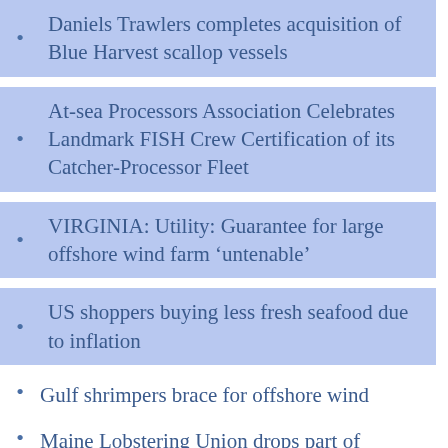Daniels Trawlers completes acquisition of Blue Harvest scallop vessels
At-sea Processors Association Celebrates Landmark FISH Crew Certification of its Catcher-Processor Fleet
VIRGINIA: Utility: Guarantee for large offshore wind farm ‘untenable’
US shoppers buying less fresh seafood due to inflation
Gulf shrimpers brace for offshore wind
Maine Lobstering Union drops part of